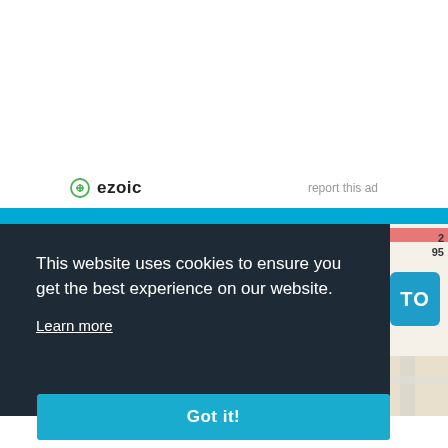[Figure (logo): Ezoic logo with green circle icon and bold 'ezoic' text, plus 'report this ad' link to the right]
[Figure (screenshot): Cookie consent banner overlay on a webpage. Dark panel reads 'This website uses cookies to ensure you get the best experience on our website.' with a 'Learn more' link and a cyan 'Got it!' button. Partially visible map in the background.]
[Figure (map): Partial street map visible in background showing route number 2/95 and a TO badge, street details]